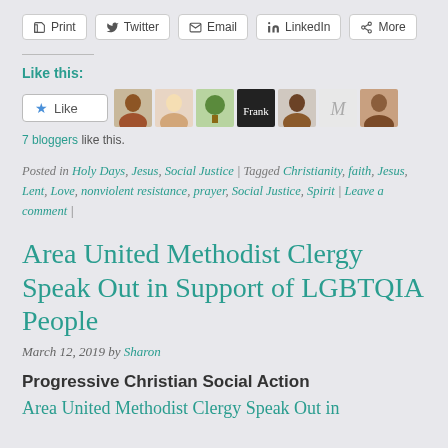Print | Twitter | Email | LinkedIn | More
Like this:
7 bloggers like this.
Posted in Holy Days, Jesus, Social Justice | Tagged Christianity, faith, Jesus, Lent, Love, nonviolent resistance, prayer, Social Justice, Spirit | Leave a comment |
Area United Methodist Clergy Speak Out in Support of LGBTQIA People
March 12, 2019 by Sharon
Progressive Christian Social Action
Area United Methodist Clergy Speak Out in